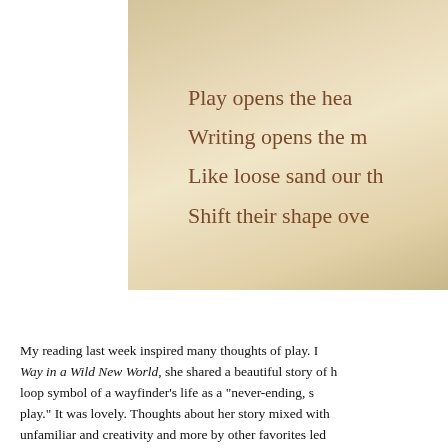[Figure (photo): A photograph of a handwritten note on light-colored paper with cursive script reading: 'Play opens the hea[rt] / Writing opens the m[ind] / Like loose sand our th[oughts] / Shift their shape ove[r time]']
My reading last week inspired many thoughts of play. In [Finding Your Way in a Wild New World], she shared a beautiful story of [how she used] loop symbol of a wayfinder's life as a "never-ending, s[piral of] play." It was lovely. Thoughts about her story mixed with [ideas about the] unfamiliar and creativity and more by other favorites led [me to write this] for everyone today. May this blessing carry us through[out our days]